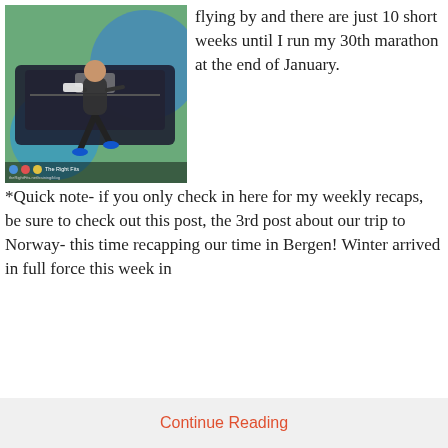[Figure (photo): Photo of a person running on a treadmill in a gym, with colorful background. Brand overlay at bottom left shows three colored dots and text 'The Right Fits'.]
flying by and there are just 10 short weeks until I run my 30th marathon at the end of January. *Quick note- if you only check in here for my weekly recaps, be sure to check out this post, the 3rd post about our trip to Norway- this time recapping our time in Bergen! Winter arrived in full force this week in
Continue Reading